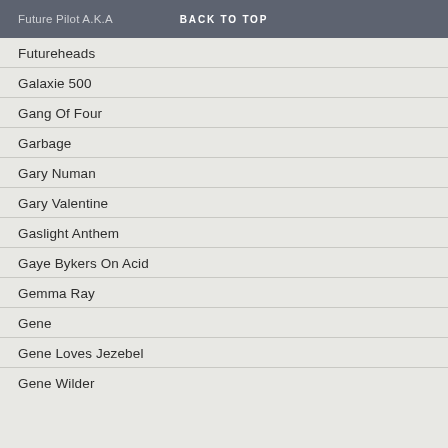Future Pilot A.K.A   BACK TO TOP
Futureheads
Galaxie 500
Gang Of Four
Garbage
Gary Numan
Gary Valentine
Gaslight Anthem
Gaye Bykers On Acid
Gemma Ray
Gene
Gene Loves Jezebel
Gene Wilder